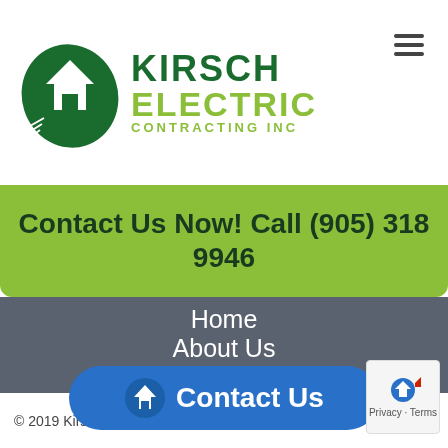[Figure (logo): Kirsch Electric Contracting Inc logo with green leaf and house icon, company name in dark green and lime green]
Contact Us Now! Call (905) 318 9946
Home
About Us
Rewires
Service & Repair
Gallery
Contact Us
© 2019 Kirsch E...
[Figure (other): Blue Contact Us button with house/leaf icon]